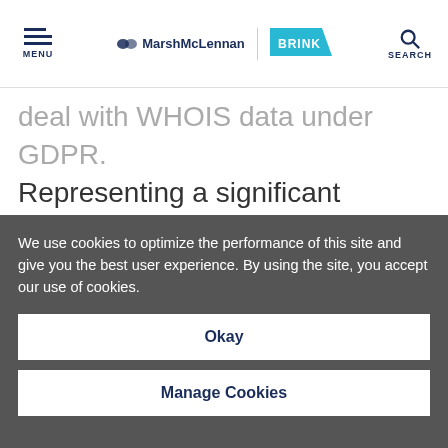MENU | MarshMcLennan BRINK | SEARCH
deal with WHOIS data under GDPR. Representing a significant change to the current system, the new approach is described as offering “tiered/layered access to WHOIS data,” under which
We use cookies to optimize the performance of this site and give you the best user experience. By using the site, you accept our use of cookies.
Okay
Manage Cookies